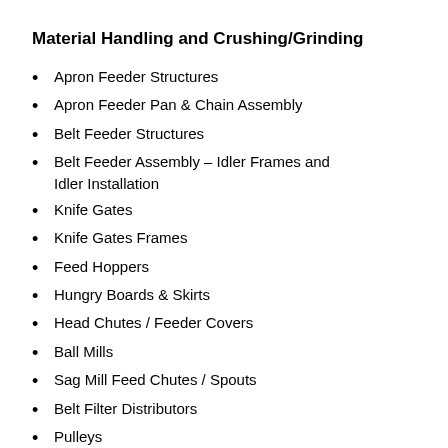Material Handling and Crushing/Grinding
Apron Feeder Structures
Apron Feeder Pan & Chain Assembly
Belt Feeder Structures
Belt Feeder Assembly – Idler Frames and Idler Installation
Knife Gates
Knife Gates Frames
Feed Hoppers
Hungry Boards & Skirts
Head Chutes / Feeder Covers
Ball Mills
Sag Mill Feed Chutes / Spouts
Belt Filter Distributors
Pulleys